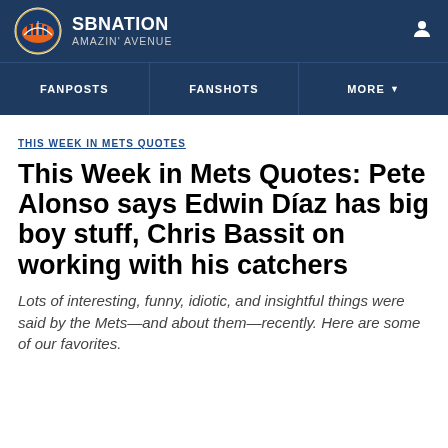[Figure (logo): SBNation Amazin' Avenue logo with circular orange and blue Mets-themed emblem and site name]
FANPOSTS   FANSHOTS   MORE
THIS WEEK IN METS QUOTES
This Week in Mets Quotes: Pete Alonso says Edwin Díaz has big boy stuff, Chris Bassit on working with his catchers
Lots of interesting, funny, idiotic, and insightful things were said by the Mets—and about them—recently. Here are some of our favorites.